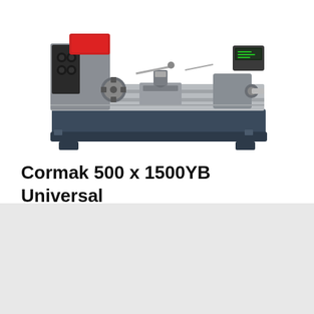[Figure (photo): Photograph of a Cormak 500 x 1500YB Universal Manual Lathe machine. The lathe is a large industrial metalworking machine with a grey/navy blue base, red headstock cover, and silver bed and components. It sits on a blue chip tray and has various controls and accessories visible.]
Cormak 500 x 1500YB Universal Manual Lathe
This website uses cookies to ensure you get the best experience on our website.
Agree